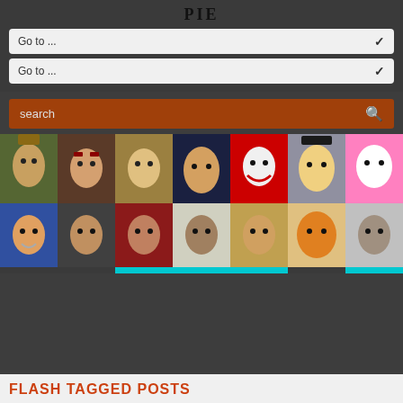PIE
Go to ...
Go to ...
search
[Figure (photo): A 2x7 grid of humorous finger-puppet or edited images depicting various famous figures including a detective, Harry Potter-style character, classical composer, Steve Jobs, KISS band member, Mr. T, Hello Kitty, a wrestler, Gaddafi, Hitler, Fidel Castro, an Arab leader, Mao Zedong, and a Civil War general — all with finger or potato-like bodies.]
FLASH TAGGED POSTS